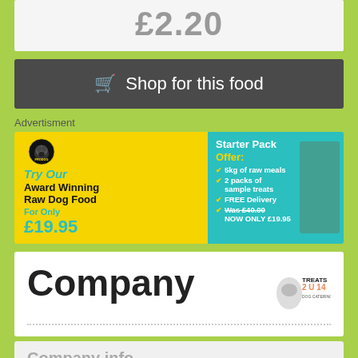£2.20
🛒 Shop for this food
Advertisment
[Figure (illustration): Pro Dog Raw Dog Food advertisement banner. Yellow left section with Pro Dog logo, script text 'Try Our Award Winning Raw Dog Food For Only £19.95'. Teal right section: 'Starter Pack Offer: 5kg of raw meals, 2 packs of sample treats, FREE Delivery, Was £40.00 NOW ONLY £19.95'. Right side shows product images.]
Company
[Figure (logo): Treats 2 U 4 logo with illustrated dog]
Company info